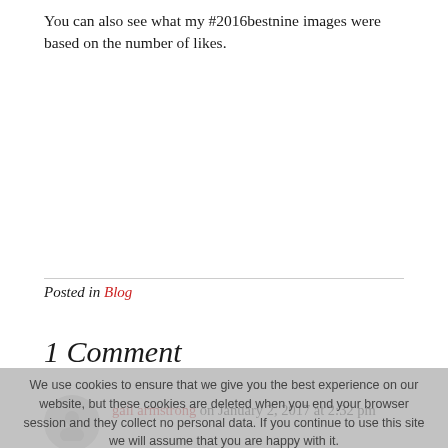You can also see what my #2016bestnine images were based on the number of likes.
Posted in Blog
1 Comment
gail armstrong on January 2, 2017 at 2:32 pm
Love reading your posts Angela. You are very inspiring. x
We use cookies to ensure that we give you the best experience on our website, but these cookies are deleted when you end your browser session and they collect no personal data. If you continue to use this site we will assume that you are happy with it.